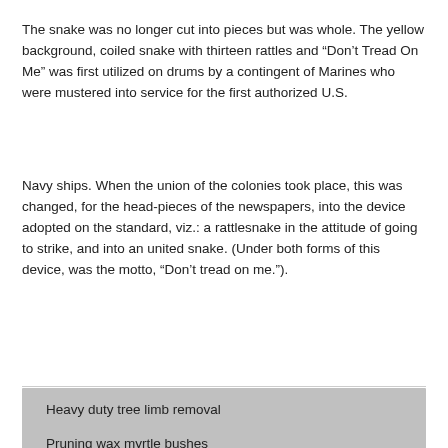The snake was no longer cut into pieces but was whole. The yellow background, coiled snake with thirteen rattles and “Don’t Tread On Me” was first utilized on drums by a contingent of Marines who were mustered into service for the first authorized U.S.
Navy ships. When the union of the colonies took place, this was changed, for the head-pieces of the newspapers, into the device adopted on the standard, viz.: a rattlesnake in the attitude of going to strike, and into an united snake. (Under both forms of this device, was the motto, “Don’t tread on me.”).
Heavy duty tree limb removal
Pruning wax myrtle bushes